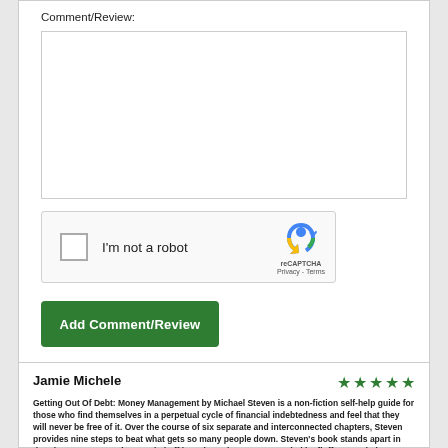Comment/Review:
[Figure (screenshot): Empty textarea input box with border]
[Figure (screenshot): reCAPTCHA widget with checkbox labeled 'I'm not a robot' and reCAPTCHA logo with Privacy and Terms links]
Add Comment/Review
Jamie Michele
[Figure (other): Five green star rating icons]
Getting Out Of Debt: Money Management by Michael Steven is a non-fiction self-help guide for those who find themselves in a perpetual cycle of financial indebtedness and feel that they will never be free of it. Over the course of six separate and interconnected chapters, Steven provides nine steps to beat what gets so many people down. Steven's book stands apart in that the steps are not just settled off in a short chapter surrounded by fluff. Instead, the strength of acknowledging...